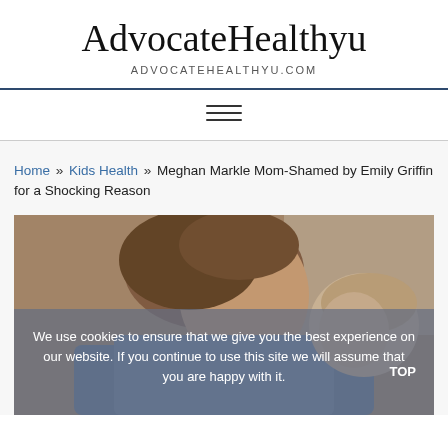AdvocateHealthyu
ADVOCATEHEALTHYU.COM
[Figure (other): Hamburger menu icon (three horizontal lines)]
Home » Kids Health » Meghan Markle Mom-Shamed by Emily Griffin for a Shocking Reason
[Figure (photo): A woman holding a baby, both photographed from above/side angle. The woman wears a blue denim shirt and the baby has light hair. A semi-transparent cookie consent overlay reads: 'We use cookies to ensure that we give you the best experience on our website. If you continue to use this site we will assume that you are happy with it.' A 'TOP' label appears at the bottom right.]